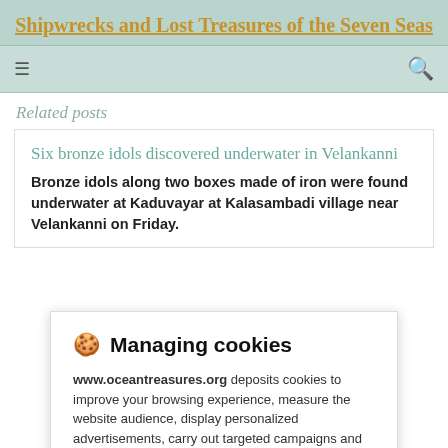Shipwrecks and Lost Treasures of the Seven Seas
Related posts
Six bronze idols discovered underwater in Velankanni
Bronze idols along two boxes made of iron were found underwater at Kaduvayar at Kalasambadi village near Velankanni on Friday.
🍪 Managing cookies
www.oceantreasures.org deposits cookies to improve your browsing experience, measure the website audience, display personalized advertisements, carry out targeted campaigns and personalize the site interface.
Consult the privacy policy
Refuse | Settings | Accept
German submarine. Only one member of the crew survived, with